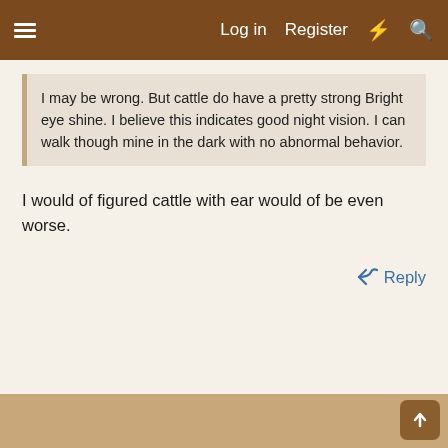≡   Log in   Register   ⚡   🔍
I may be wrong. But cattle do have a pretty strong Bright eye shine. I believe this indicates good night vision. I can walk though mine in the dark with no abnormal behavior.
I would of figured cattle with ear would of be even worse.
↩ Reply